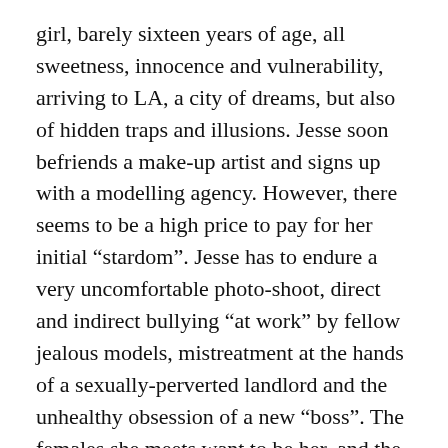girl, barely sixteen years of age, all sweetness, innocence and vulnerability, arriving to LA, a city of dreams, but also of hidden traps and illusions. Jesse soon befriends a make-up artist and signs up with a modelling agency. However, there seems to be a high price to pay for her initial “stardom”. Jesse has to endure a very uncomfortable photo-shoot, direct and indirect bullying “at work” by fellow jealous models, mistreatment at the hands of a sexually-perverted landlord and the unhealthy obsession of a new “boss”. The females she meets want to be her, and the males she meets want to be with her. Jesse must have a “thick” skin to survive in such an environment. The film’s dialogue is also nicely written, and most of it is very frank. For example, when Jesse is “interrogated” in the bathroom by the “models”, one says: “You must have a boyfriend,” and another carries on: “All she really wants to know is, who are you f***ing? Isn’t that what everyone wants